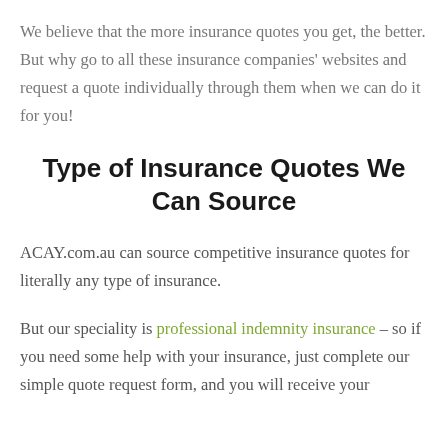We believe that the more insurance quotes you get, the better. But why go to all these insurance companies' websites and request a quote individually through them when we can do it for you!
Type of Insurance Quotes We Can Source
ACAY.com.au can source competitive insurance quotes for literally any type of insurance.
But our speciality is professional indemnity insurance – so if you need some help with your insurance, just complete our simple quote request form, and you will receive your